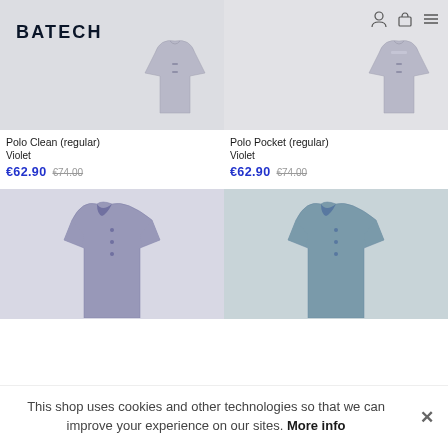[Figure (screenshot): Product image of Polo Clean (regular) shirt in violet/grey on light grey background with Batech logo]
[Figure (screenshot): Product image of Polo Pocket (regular) shirt in violet/grey on light grey background with user/bag/menu icons]
Polo Clean (regular)
Violet
€62.90  €74.00
Polo Pocket (regular)
Violet
€62.90  €74.00
[Figure (photo): Partial product image of a long-sleeve polo in violet/lavender color]
[Figure (photo): Partial product image of a long-sleeve polo in steel blue/slate color]
This shop uses cookies and other technologies so that we can improve your experience on our sites. More info